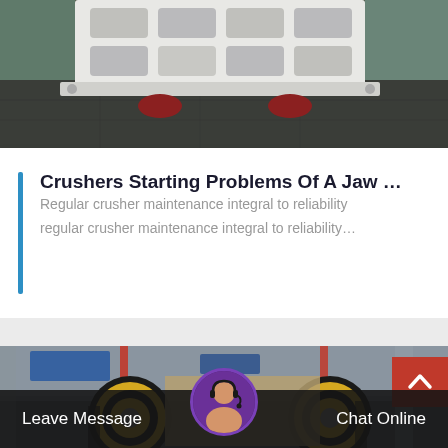[Figure (photo): Industrial crusher machine component — white heavy metal frame with grid-like rectangular cavities, sitting on a dark factory floor]
Crushers Starting Problems Of A Jaw …
Regular crusher maintenance integral to reliability regular crusher maintenance integral to reliability…
[Figure (photo): Industrial crusher machinery with large yellow and black flywheels/pulleys in a factory setting with red overhead crane]
Leave Message
Chat Online